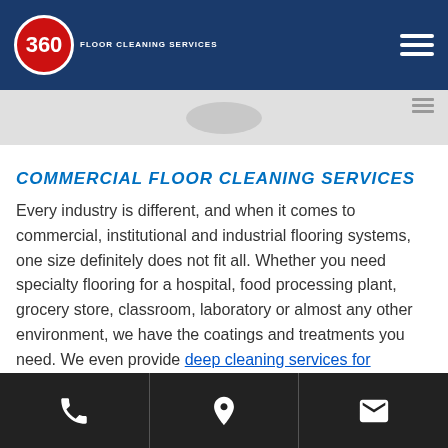360 FLOOR CLEANING SERVICES
COMMERCIAL FLOOR CLEANING SERVICES
Every industry is different, and when it comes to commercial, institutional and industrial flooring systems, one size definitely does not fit all. Whether you need specialty flooring for a hospital, food processing plant, grocery store, classroom, laboratory or almost any other environment, we have the coatings and treatments you need. We even provide deep cleaning services for warehouses, Industrial Plants, manufacturing plants and more as large as 5,000,000 Sq Ft throughout Atlanta.
Phone | Location | Email